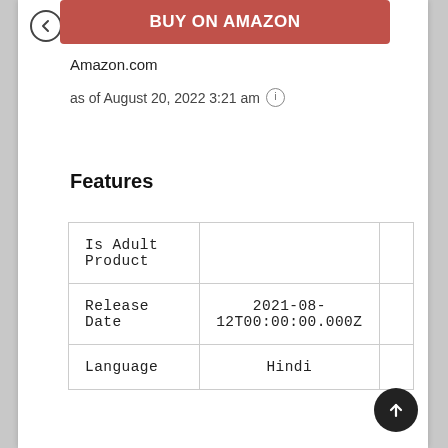BUY ON AMAZON
Amazon.com
as of August 20, 2022 3:21 am
Features
|  |  |  |
| --- | --- | --- |
| Is Adult Product |  |  |
| Release Date | 2021-08-12T00:00:00.000Z |  |
| Language | Hindi |  |